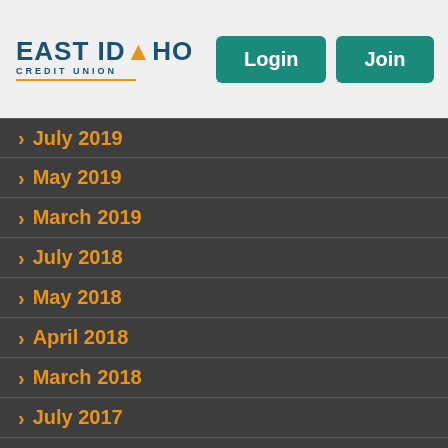[Figure (logo): East Idaho Credit Union logo with teal Login and Join buttons and orange hamburger menu icon]
> July 2019
> May 2019
> March 2019
> July 2018
> May 2018
> April 2018
> March 2018
> July 2017
> March 2017